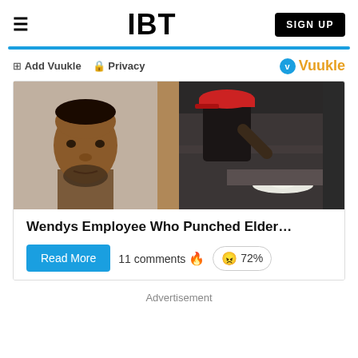IBT
[Figure (screenshot): Article card with two photos: a mugshot of a man on the left and a security camera image on the right showing a person in a drive-through]
Wendys Employee Who Punched Elder…
11 comments  72%
Advertisement